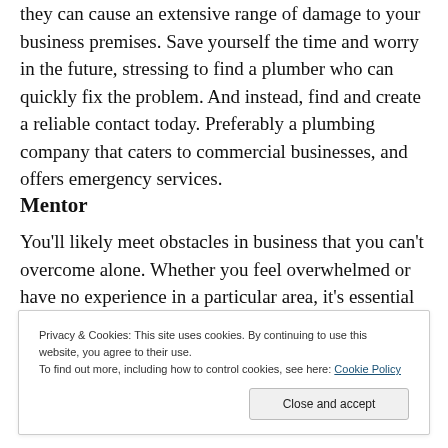they can cause an extensive range of damage to your business premises. Save yourself the time and worry in the future, stressing to find a plumber who can quickly fix the problem. And instead, find and create a reliable contact today. Preferably a plumbing company that caters to commercial businesses, and offers emergency services.
Mentor
You'll likely meet obstacles in business that you can't overcome alone. Whether you feel overwhelmed or have no experience in a particular area, it's essential to ask for help and support. This is why it would benefit you to have
Privacy & Cookies: This site uses cookies. By continuing to use this website, you agree to their use.
To find out more, including how to control cookies, see here: Cookie Policy